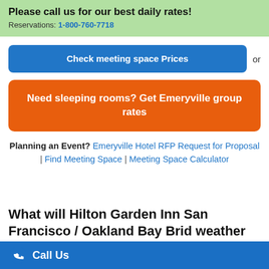Please call us for our best daily rates! Reservations: 1-800-760-7718
Check meeting space Prices or
Need sleeping rooms? Get Emeryville group rates
Planning an Event? Emeryville Hotel RFP Request for Proposal | Find Meeting Space | Meeting Space Calculator
What will Hilton Garden Inn San Francisco / Oakland Bay Brid weather
Call Us